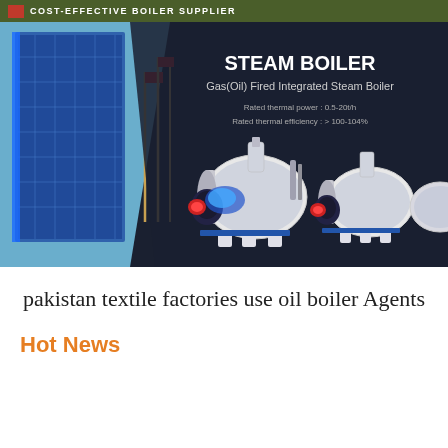COST-EFFECTIVE BOILER SUPPLIER
[Figure (photo): Steam boiler product banner showing Gas(Oil) Fired Integrated Steam Boilers against a dark background with a building on the left. Text: STEAM BOILER, Gas(Oil) Fired Integrated Steam Boiler, Rated thermal power: 0.5-20t/h, Rated thermal efficiency: > 100-104%]
pakistan textile factories use oil boiler Agents
Hot News